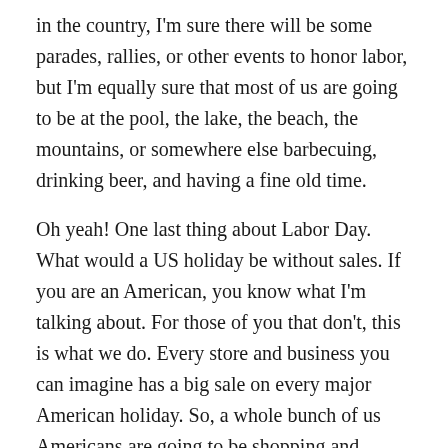in the country, I'm sure there will be some parades, rallies, or other events to honor labor, but I'm equally sure that most of us are going to be at the pool, the lake, the beach, the mountains, or somewhere else barbecuing, drinking beer, and having a fine old time.
Oh yeah! One last thing about Labor Day. What would a US holiday be without sales. If you are an American, you know what I'm talking about. For those of you that don't, this is what we do. Every store and business you can imagine has a big sale on every major American holiday. So, a whole bunch of us Americans are going to be shopping and spending bank loads of money on this Labor Day. Good for them! I'm not.
Rate this: 👍 1 👎 0 ℹ Rate This
Share this: